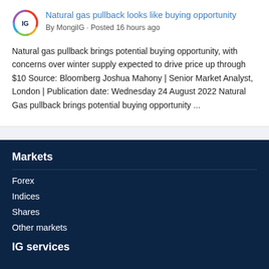Natural gas pullback looks like buying opportunity
By MongilG · Posted 16 hours ago
Natural gas pullback brings potential buying opportunity, with concerns over winter supply expected to drive price up through $10 Source: Bloomberg  Joshua Mahony | Senior Market Analyst, London | Publication date: Wednesday 24 August 2022  Natural Gas pullback brings potential buying opportunity ...
Markets
Forex
Indices
Shares
Other markets
IG services